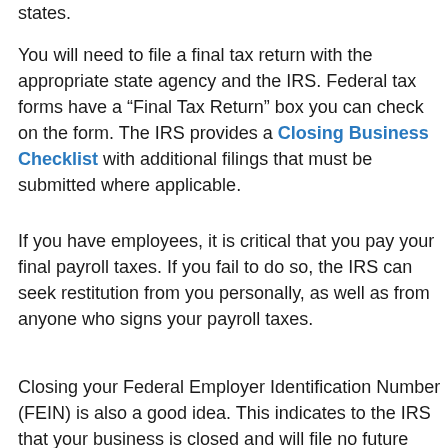states.
You will need to file a final tax return with the appropriate state agency and the IRS. Federal tax forms have a “Final Tax Return” box you can check on the form. The IRS provides a Closing Business Checklist with additional filings that must be submitted where applicable.
If you have employees, it is critical that you pay your final payroll taxes. If you fail to do so, the IRS can seek restitution from you personally, as well as from anyone who signs your payroll taxes.
Closing your Federal Employer Identification Number (FEIN) is also a good idea. This indicates to the IRS that your business is closed and will file no future taxes